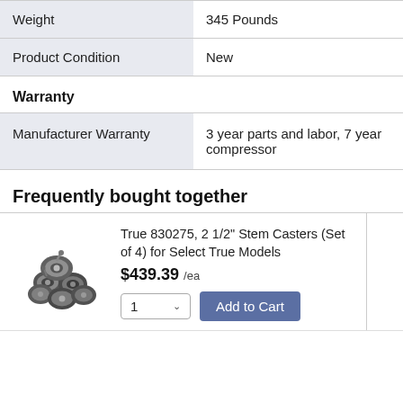|  |  |
| --- | --- |
| Weight | 345 Pounds |
| Product Condition | New |
Warranty
|  |  |
| --- | --- |
| Manufacturer Warranty | 3 year parts and labor, 7 year compressor |
Frequently bought together
[Figure (photo): Photo of caster wheels set - True 830275 stem casters, set of 4, metallic/black, shown clustered together]
True 830275, 2 1/2" Stem Casters (Set of 4) for Select True Models
$439.39 /ea
1 ▾  Add to Cart